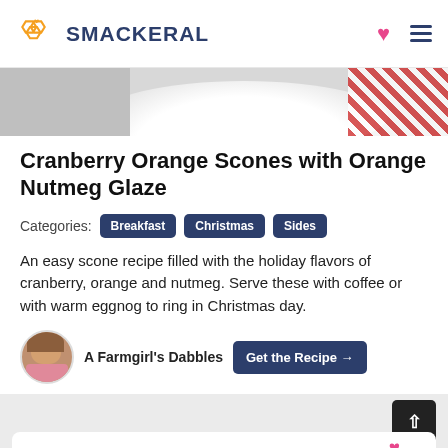SMACKERAL
[Figure (photo): Partial view of a plate with cranberry orange scones on a red and white checkered cloth background]
Cranberry Orange Scones with Orange Nutmeg Glaze
Categories: Breakfast Christmas Sides
An easy scone recipe filled with the holiday flavors of cranberry, orange and nutmeg. Serve these with coffee or with warm eggnog to ring in Christmas day.
A Farmgirl's Dabbles   Get the Recipe →